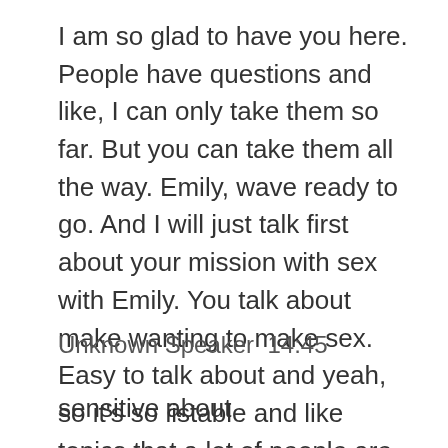I am so glad to have you here. People have questions and like, I can only take them so far. But you can take them all the way. Emily, wave ready to go. And I will just talk first about your mission with sex with Emily. You talk about make wanting to make sex. Easy to talk about and yeah, so it’s so listable and like topics that a lot of people are sort of
Unknown Speaker  14:45
sensitive about